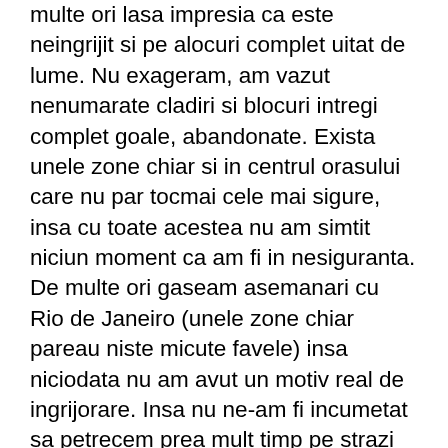multe ori lasa impresia ca este neingrijit si pe alocuri complet uitat de lume. Nu exageram, am vazut nenumarate cladiri si blocuri intregi complet goale, abandonate. Exista unele zone chiar si in centrul orasului care nu par tocmai cele mai sigure, insa cu toate acestea nu am simtit niciun moment ca am fi in nesiguranta. De multe ori gaseam asemanari cu Rio de Janeiro (unele zone chiar pareau niste micute favele) insa niciodata nu am avut un motiv real de ingrijorare. Insa nu ne-am fi incumetat sa petrecem prea mult timp pe strazi dupa lasarea serii. Arhitectura este cel putin interesanta, combinatii de cladiri vechi, colorate sau decorate cu faianta azulejos si cladiri moderne, in cele mai neasteptate locuri. Este un oras foarte turistic, insa spre surprinderea noastra, destul de ieftin (la cazari si mancare). Iar daca ar fi sa definim cumva orasul, cu siguranta am spune ca este... neasteptat. Este complet diferit de tot ce am mai vazut pana acum in